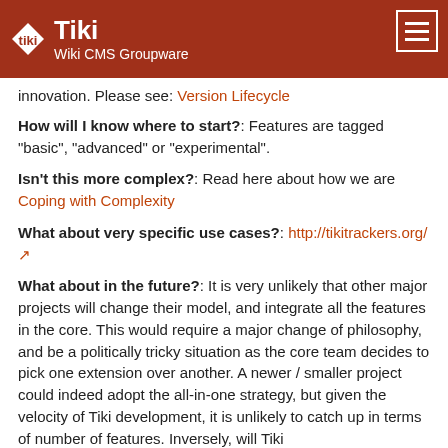Tiki Wiki CMS Groupware
innovation. Please see: Version Lifecycle
How will I know where to start?: Features are tagged "basic", "advanced" or "experimental".
Isn't this more complex?: Read here about how we are Coping with Complexity
What about very specific use cases?: http://tikitrackers.org/
What about in the future?: It is very unlikely that other major projects will change their model, and integrate all the features in the core. This would require a major change of philosophy, and be a politically tricky situation as the core team decides to pick one extension over another. A newer / smaller project could indeed adopt the all-in-one strategy, but given the velocity of Tiki development, it is unlikely to catch up in terms of number of features. Inversely, will Tiki